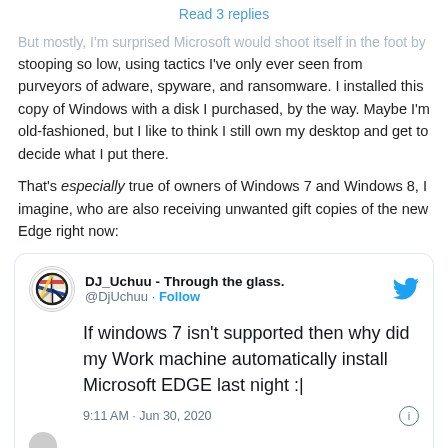Read 3 replies
But mostly, I'm surprised Microsoft would shoot itself in the foot by stooping so low, using tactics I've only ever seen from purveyors of adware, spyware, and ransomware. I installed this copy of Windows with a disk I purchased, by the way. Maybe I'm old-fashioned, but I like to think I still own my desktop and get to decide what I put there.
That's especially true of owners of Windows 7 and Windows 8, I imagine, who are also receiving unwanted gift copies of the new Edge right now:
[Figure (screenshot): Embedded tweet from DJ_Uchuu (@DjUchuu) saying 'If windows 7 isn't supported then why did my Work machine automatically install Microsoft EDGE last night :|' posted at 9:11 AM · Jun 30, 2020]